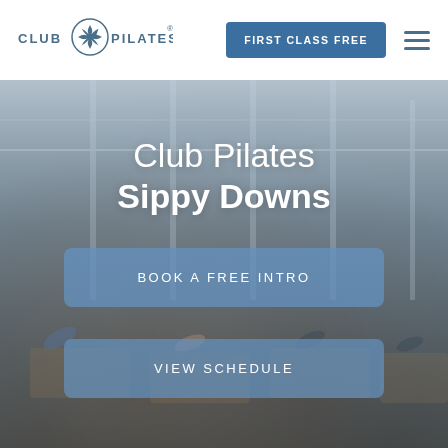[Figure (logo): Club Pilates logo with snowflake/flower icon and text CLUB PILATES]
FIRST CLASS FREE
[Figure (screenshot): Club Pilates studio interior with people exercising on reformer machines]
Club Pilates Sippy Downs
BOOK A FREE INTRO
VIEW SCHEDULE